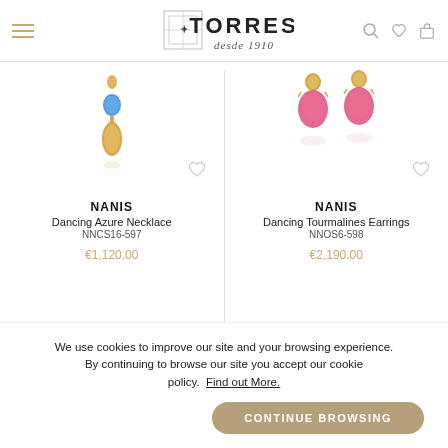[Figure (logo): TORRES jewelry store logo with decorative emblem and 'desde 1910' tagline]
[Figure (photo): NANIS Dancing Azure Necklace product photo - gold necklace with blue gem]
NANIS
Dancing Azure Necklace
NNCS16-597
€1,120.00
[Figure (photo): NANIS Dancing Tourmalines Earrings product photo - gold earrings with pink tourmaline gems]
NANIS
Dancing Tourmalines Earrings
NNOS6-598
€2,190.00
We use cookies to improve our site and your browsing experience. By continuing to browse our site you accept our cookie policy.  Find out More.